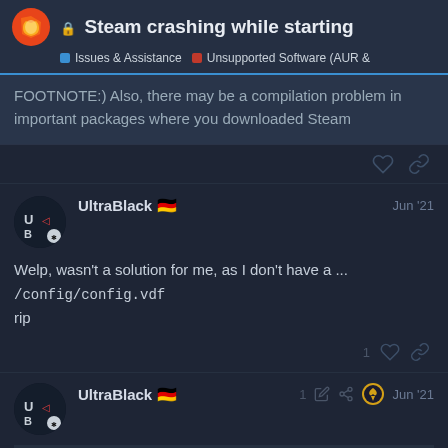Steam crashing while starting | Issues & Assistance | Unsupported Software (AUR &
FOOTNOTE:) Also, there may be a compilation problem in important packages where you downloaded Steam
UltraBlack 🇩🇪 Jun '21
Welp, wasn't a solution for me, as I don't have a .../config/config.vdf
rip
UltraBlack 🇩🇪 1 Jun '21
I have no idea what tricks you gamers